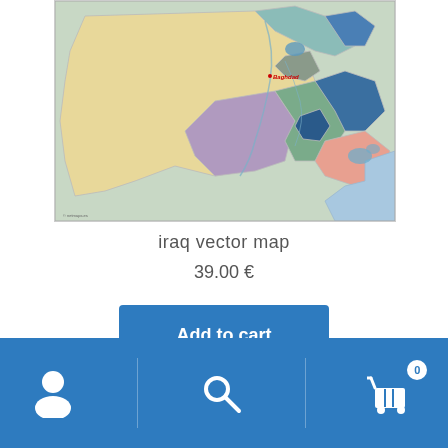[Figure (map): Iraq vector map showing administrative regions in different colors (yellow, purple, teal, coral, blue, green, gray) with Baghdad labeled. Map includes surrounding terrain and water bodies.]
iraq vector map
39.00 €
Add to cart
Navigation bar with user icon, search icon, and cart icon with badge showing 0